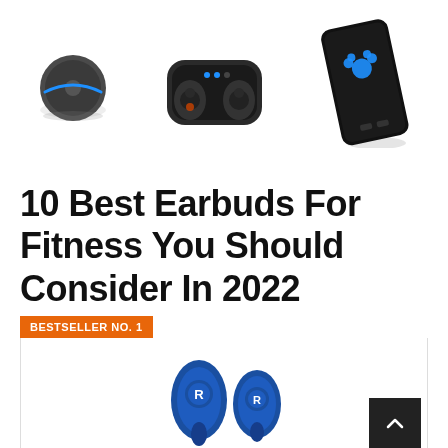[Figure (photo): Three product images side by side: Amazon Echo Dot smart speaker on left, wireless earbuds in charging case in center, and a portable power bank on right]
10 Best Earbuds For Fitness You Should Consider In 2022
BESTSELLER NO. 1
[Figure (photo): Blue wireless fitness earbuds (Raycon branded) shown outside their case]